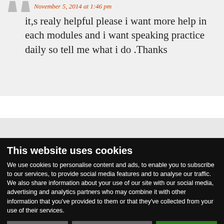November 5, 2014 at 1:46 pm
it,s realy helpful please i want more help in each modules and i want speaking practice daily so tell me what i do .Thanks
This website uses cookies
We use cookies to personalise content and ads, to enable you to subscribe to our services, to provide social media features and to analyse our traffic. We also share information about your use of our site with our social media, advertising and analytics partners who may combine it with other information that you've provided to them or that they've collected from your use of their services.
Deny
Allow selection
Allow all
Necessary  Preferences  Statistics  Marketing  Show details